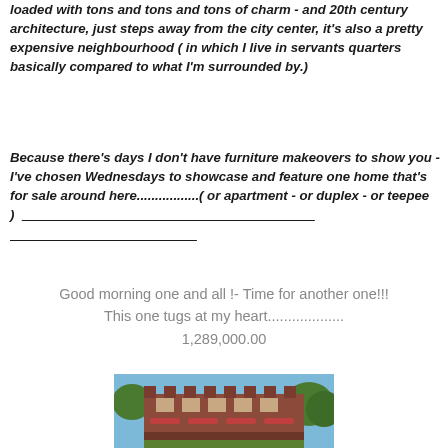loaded with tons and tons and tons of charm - and 20th century architecture, just steps away from the city center, it's also a pretty expensive neighbourhood ( in which I live in servants quarters basically compared to what I'm surrounded by.)
Because there's days I don't have furniture makeovers to show you - I've chosen Wednesdays to showcase and feature one home that's for sale around here.................( or apartment - or duplex - or teepee )  _______________________________________________  ________________________________
Good morning one and all !- Time for another one!!!
This one tugs at my heart...................
1,289,000.00
[Figure (photo): Exterior photo of a red brick building with red awnings, crenellated roofline, and trees in foreground under a blue sky.]